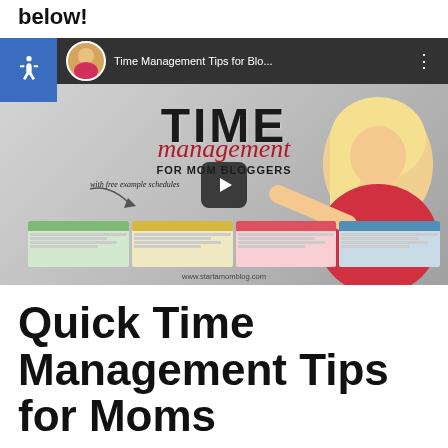below!
[Figure (screenshot): YouTube video thumbnail for 'Time Management Tips for Blo...' featuring a blonde woman in a red shirt with TIME management FOR MOM BLOGGERS text, with free example schedules, and a play button overlay. URL shown: www.startamomblog.com]
Quick Time Management Tips for Moms